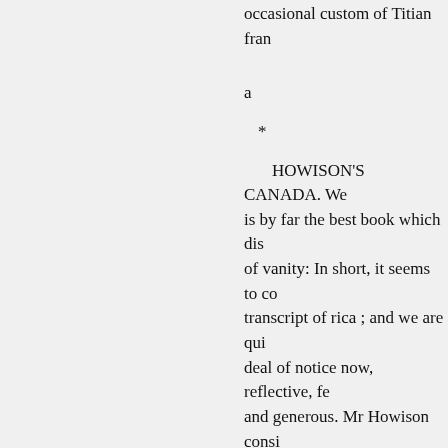occasional custom of Titian fran
a
*
HOWISON'S CANADA. We is by far the best book which dis of vanity: In short, it seems to co transcript of rica ; and we are qui deal of notice now, reflective, fe and generous. Mr Howison consi the other side of the Atlantic. It i English writers of his time ; but r would be likely to guess from the language: mand and obtain, by fu eminent place, as it is trace of th
* Sketches of Upper Canada, for the information of Emigrants By John Howison. Oliver and Bo
hitherto prevented him from con
led. The subject of Emigration is